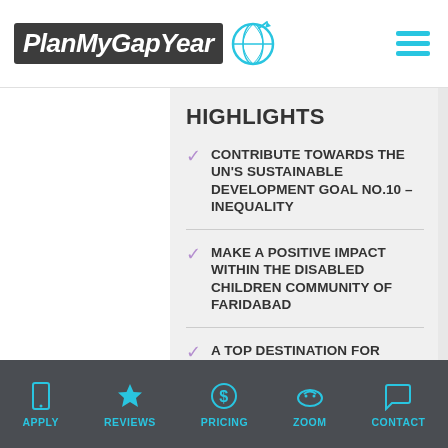PlanMyGapYear
HIGHLIGHTS
CONTRIBUTE TOWARDS THE UN'S SUSTAINABLE DEVELOPMENT GOAL NO.10 – INEQUALITY
MAKE A POSITIVE IMPACT WITHIN THE DISABLED CHILDREN COMMUNITY OF FARIDABAD
A TOP DESTINATION FOR FIRST-TIMERS LOOKING FOR A SECURE & SOCIAL EXPERIENCE
GAIN VOLUNTEER EXPERIENCE WITHIN A SUPPORTED NETWORK
APPLY  REVIEWS  PRICING  ZOOM  CONTACT